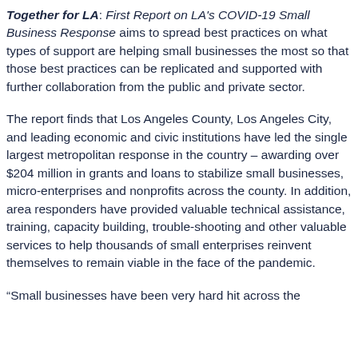Together for LA: First Report on LA's COVID-19 Small Business Response aims to spread best practices on what types of support are helping small businesses the most so that those best practices can be replicated and supported with further collaboration from the public and private sector.
The report finds that Los Angeles County, Los Angeles City, and leading economic and civic institutions have led the single largest metropolitan response in the country – awarding over $204 million in grants and loans to stabilize small businesses, micro-enterprises and nonprofits across the county. In addition, area responders have provided valuable technical assistance, training, capacity building, trouble-shooting and other valuable services to help thousands of small enterprises reinvent themselves to remain viable in the face of the pandemic.
“Small businesses have been very hard hit across the